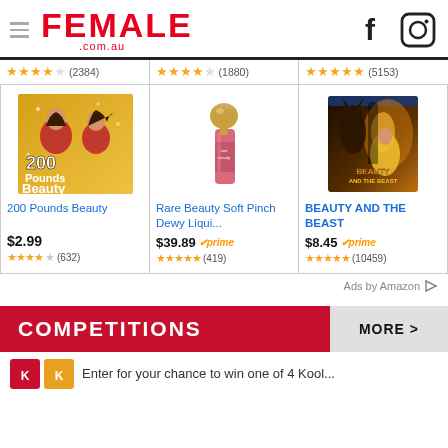FEMALE .com.au
[Figure (other): Three product cards partially visible at top with star ratings: (2384), (1880), (5153)]
[Figure (other): Product card: 200 Pounds Beauty movie poster - two women in red dresses on golden background]
200 Pounds Beauty
$2.99
(632)
[Figure (other): Product card: Rare Beauty Soft Pinch Dewy Liquid blush bottle - gold spherical cap, pink liquid]
Rare Beauty Soft Pinch Dewy Liqui...
$39.89 prime
(419)
[Figure (other): Product card: Beauty and the Beast DVD - Beast and Belle on dark golden background]
BEAUTY AND THE BEAST
$8.45 prime
(10459)
Ads by Amazon
COMPETITIONS MORE >
Enter for your chance to win one of 4 Kool...